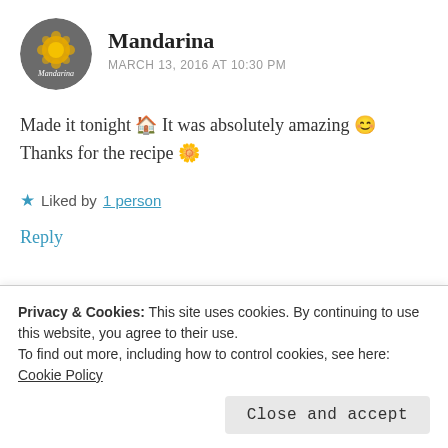[Figure (illustration): Circular avatar for user Mandarina with dark grey background and orange flower/mandarin icon with white text 'Mandarina']
Mandarina
MARCH 13, 2016 AT 10:30 PM
Made it tonight 🏠 It was absolutely amazing 😊 Thanks for the recipe 🌼
★ Liked by 1 person
Reply
[Figure (photo): Circular avatar photo of Jona @AssortedBites showing a person with curly hair]
Jona @AssortedBites
Privacy & Cookies: This site uses cookies. By continuing to use this website, you agree to their use.
To find out more, including how to control cookies, see here: Cookie Policy
Close and accept
★ Liked by 1 person